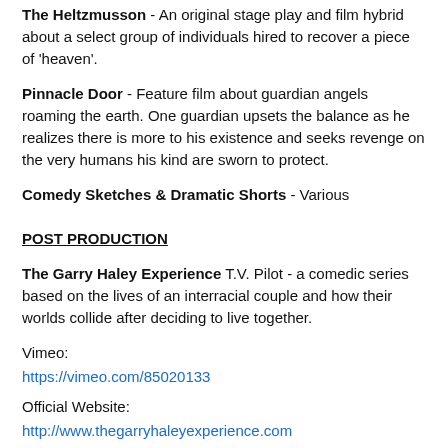The Heltzmusson - An original stage play and film hybrid about a select group of individuals hired to recover a piece of 'heaven'.
Pinnacle Door - Feature film about guardian angels roaming the earth. One guardian upsets the balance as he realizes there is more to his existence and seeks revenge on the very humans his kind are sworn to protect.
Comedy Sketches & Dramatic Shorts - Various
POST PRODUCTION
The Garry Haley Experience T.V. Pilot - a comedic series based on the lives of an interracial couple and how their worlds collide after deciding to live together.
Vimeo:
https://vimeo.com/85020133
Official Website:
http://www.thegarryhaleyexperience.com